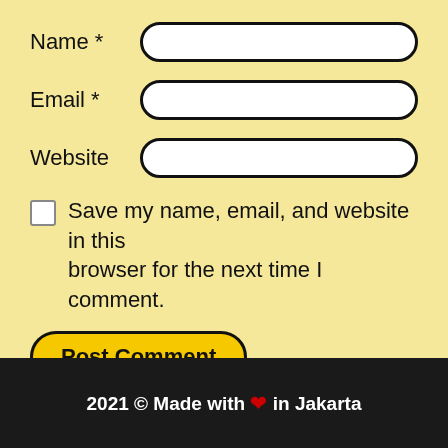Name *
Email *
Website
Save my name, email, and website in this browser for the next time I comment.
Post Comment
This site uses Akismet to reduce spam. Learn how your comment data is processed.
2021 © Made with ❤ in Jakarta